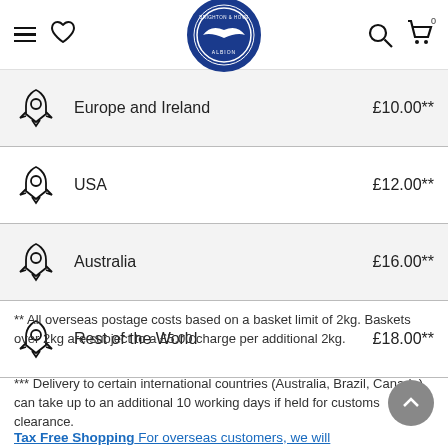Brighton & Hove Albion FC online store navigation bar with hamburger menu, wishlist heart, club logo, search and cart icons
|  | Destination | Price |
| --- | --- | --- |
| [rocket icon] | Europe and Ireland | £10.00** |
| [rocket icon] | USA | £12.00** |
| [rocket icon] | Australia | £16.00** |
| [rocket icon] | Rest of the World | £18.00** |
** All overseas postage costs based on a basket limit of 2kg. Baskets over 2kg are subject to a £5.00 charge per additional 2kg.
*** Delivery to certain international countries (Australia, Brazil, Canada) can take up to an additional 10 working days if held for customs clearance.
Tax Free Shopping For overseas customers, we will